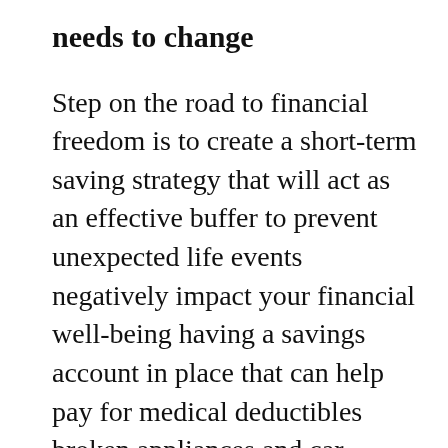needs to change
Step on the road to financial freedom is to create a short-term saving strategy that will act as an effective buffer to prevent unexpected life events negatively impact your financial well-being having a savings account in place that can help pay for medical deductibles broken appliances and car repairs it’s effectively going to help you avoid curtailing your bid for financial freedom. It should be viewed as an emergency fund of an extra degree in that the fund should be able to cover you for at least 3 to 6 months in the event you suddenly lose your